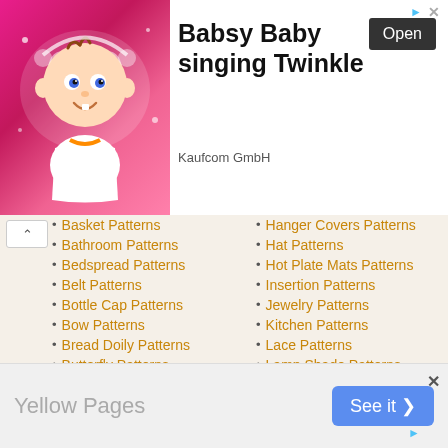[Figure (screenshot): Advertisement banner for Babsy Baby singing Twinkle by Kaufcom GmbH with animated baby image, Open button]
Basket Patterns
Bathroom Patterns
Bedspread Patterns
Belt Patterns
Bottle Cap Patterns
Bow Patterns
Bread Doily Patterns
Butterfly Patterns
Chair Set Patterns
Children Clothing Patterns
Christmas Patterns
Coaster Patterns
Coat Patterns
Collar Patterns
Hanger Covers Patterns
Hat Patterns
Hot Plate Mats Patterns
Insertion Patterns
Jewelry Patterns
Kitchen Patterns
Lace Patterns
Lamp Shade Patterns
Luncheon Set Patterns
Men's Sweater Patterns
Mitten Patterns
Monogram Patterns
Motif Patterns
Napkin Holder Covers Patt...
Search for
[Figure (screenshot): Yellow Pages advertisement with See it button]